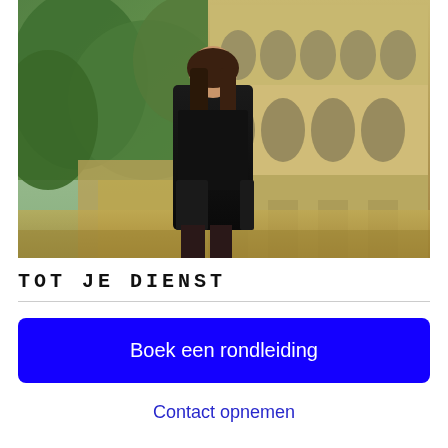[Figure (photo): A young woman with long dark hair wearing a black outfit, standing in front of a Roman aqueduct with arches, surrounded by green trees and rocky landscape.]
TOT JE DIENST
Boek een rondleiding
Contact opnemen